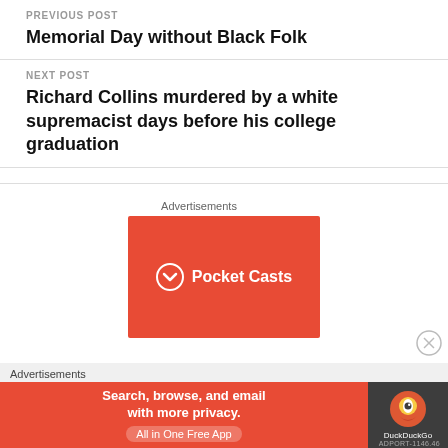PREVIOUS POST
Memorial Day without Black Folk
NEXT POST
Richard Collins murdered by a white supremacist days before his college graduation
[Figure (screenshot): Pocket Casts advertisement - red background with white Pocket Casts logo and icon]
Advertisements
[Figure (screenshot): DuckDuckGo advertisement - Search, browse, and email with more privacy. All in One Free App]
Advertisements